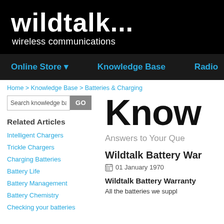wildtalk... wireless communications
Online Store | Knowledge Base | Radio
Home > Knowledge Base > Batteries & Charging
Search knowledge base... GO
Related Articles
Intelligent Chargers
Trickle Chargers
Charging Batteries
Battery Life
Battery Management
Battery Chemistry
Checking your batteries
Know
Answers to Your Que
Wildtalk Battery War
01 January 1970
Wildtalk Battery Warranty
All the batteries we suppl